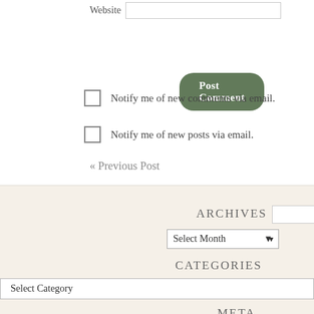Website
Post Comment
Notify me of new comments via email.
Notify me of new posts via email.
« Previous Post
ARCHIVES
Select Month
CATEGORIES
Select Category
META